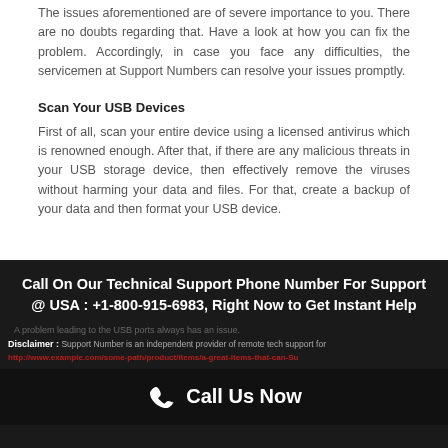The issues aforementioned are of severe importance to you. There are no doubts regarding that. Have a look at how you can fix the problem. Accordingly, in case you face any difficulties, the servicemen at Support Numbers can resolve your issues promptly.
Scan Your USB Devices
First of all, scan your entire device using a licensed antivirus which is renowned enough. After that, if there are any malicious threats in your USB storage device, then effectively remove the viruses without harming your data and files. For that, create a backup of your data and then format your USB device.
Call On Our Technical Support Phone Number For Support @ USA : +1-800-915-6983, Right Now to Get Instant Help
A problem leading to the USB ports always has an issue.
Disclaimer : Support Number is an independent provider of remote tech support for
Call Us Now